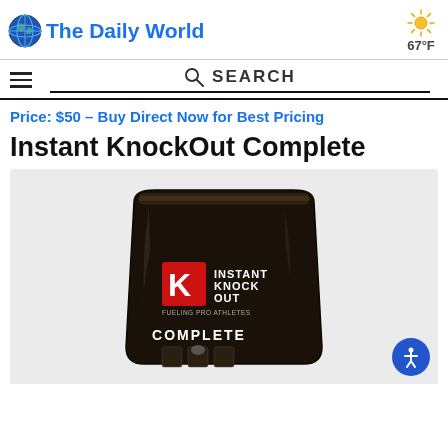The Daily World | 67°F
SEARCH
Price: $50 – Buy Direct Now for Best Pricing
Instant KnockOut Complete
[Figure (photo): Black resealable pouch of Instant KnockOut Complete protein powder with red K logo and 'FUELING PRO ATHLETES' tagline, labeled COMPLETE, on a light grey background.]